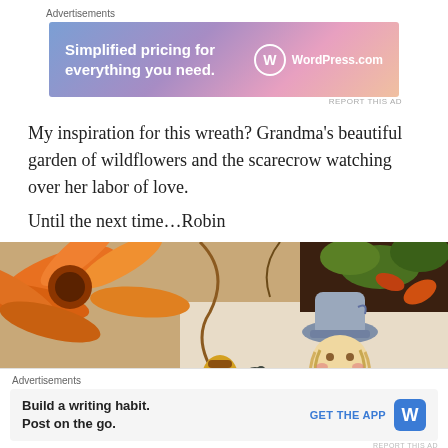Advertisements
[Figure (screenshot): WordPress.com advertisement banner with gradient background (blue to pink) showing 'Simplified pricing for everything you need.' and WordPress.com logo]
REPORT THIS AD
My inspiration for this wreath? Grandma’s beautiful garden of wildflowers and the scarecrow watching over her labor of love.
Until the next time…Robin
[Figure (photo): Close-up photo of orange wildflowers and autumn foliage with a hand-drawn/colored illustration of a scarecrow character visible below]
Advertisements
[Figure (screenshot): WordPress app advertisement: 'Build a writing habit. Post on the go.' with GET THE APP button and WordPress icon]
REPORT THIS AD